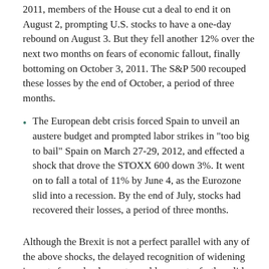2011, members of the House cut a deal to end it on August 2, prompting U.S. stocks to have a one-day rebound on August 3. But they fell another 12% over the next two months on fears of economic fallout, finally bottoming on October 3, 2011. The S&P 500 recouped these losses by the end of October, a period of three months.
The European debt crisis forced Spain to unveil an austere budget and prompted labor strikes in "too big to bail" Spain on March 27-29, 2012, and effected a shock that drove the STOXX 600 down 3%. It went on to fall a total of 11% by June 4, as the Eurozone slid into a recession. By the end of July, stocks had recovered their losses, a period of three months.
Although the Brexit is not a perfect parallel with any of the above shocks, the delayed recognition of widening impacts from shock events could prompt a further slide in the stock markets after the initial reaction, as we have seen in the past.